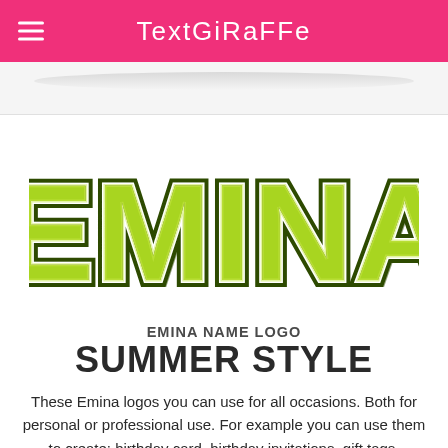TextGiraffe
[Figure (logo): EMINA name rendered in large green cartoon block letters with dark outline and shadow, Summer Style]
EMINA NAME LOGO
SUMMER STYLE
These Emina logos you can use for all occasions. Both for personal or professional use. For example you can use them to create: birthday card, birthday invitations, gift tags, websites, photo posters, film editing and place cards. All